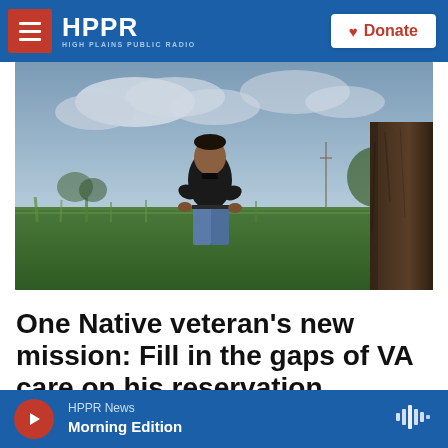HPPR HIGH PLAINS PUBLIC RADIO | Donate
[Figure (photo): A Native American man in a black polo shirt and jeans stands in a lush green field near a large tree trunk, with a rural landscape and cloudy sky in the background.]
One Native veteran's new mission: Fill in the gaps of VA care on his reservation
HPPR News Morning Edition